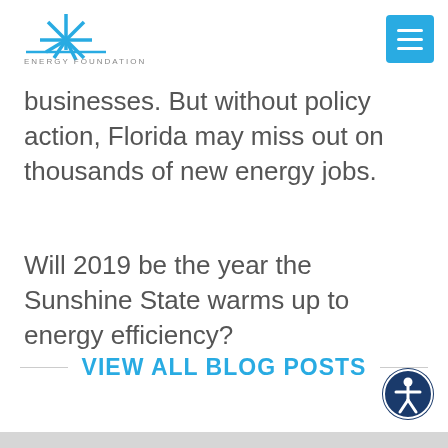Energy Foundation
businesses. But without policy action, Florida may miss out on thousands of new energy jobs.
Will 2019 be the year the Sunshine State warms up to energy efficiency?
VIEW ALL BLOG POSTS
[Figure (logo): Accessibility icon button — circular dark blue button with a white figure/person accessibility symbol]